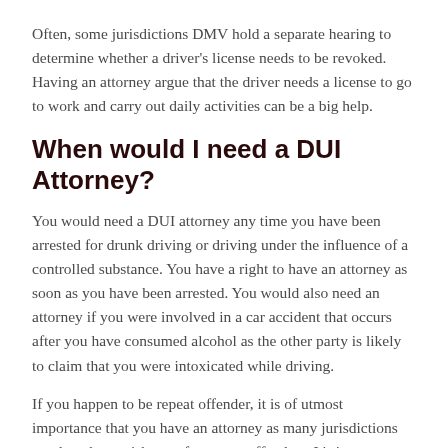Often, some jurisdictions DMV hold a separate hearing to determine whether a driver's license needs to be revoked. Having an attorney argue that the driver needs a license to go to work and carry out daily activities can be a big help.
When would I need a DUI Attorney?
You would need a DUI attorney any time you have been arrested for drunk driving or driving under the influence of a controlled substance. You have a right to have an attorney as soon as you have been arrested. You would also need an attorney if you were involved in a car accident that occurs after you have consumed alcohol as the other party is likely to claim that you were intoxicated while driving.
If you happen to be repeat offender, it is of utmost importance that you have an attorney as many jurisdictions escalate the punishment for repeat offenders. It's important that you have a legal representation that lets you know just what your rights are